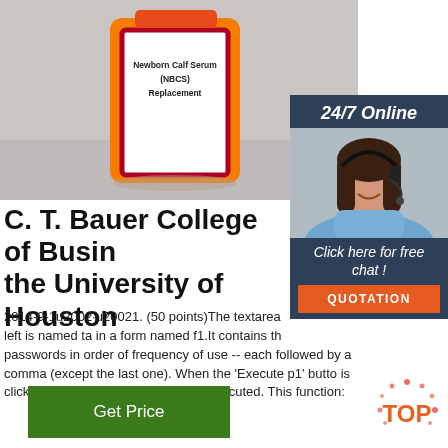[Figure (photo): Orange bottle with white label reading 'Newborn Calf Serum (NBCS) Replacement' on a gray background]
[Figure (photo): 24/7 Online chat support sidebar with woman wearing headset, 'Click here for free chat!' text, and orange QUOTATION button]
C. T. Bauer College of Business the University of Houston
2014-9-1u2002·u20021. (50 points)The textarea left is named ta in a form named f1.It contains the passwords in order of frequency of use -- each followed by a comma (except the last one). When the 'Execute p1' button is clicked the javascript function p1 is executed. This function:
[Figure (other): Green 'Get Price' button]
[Figure (logo): TOP badge with red dots and orange text]